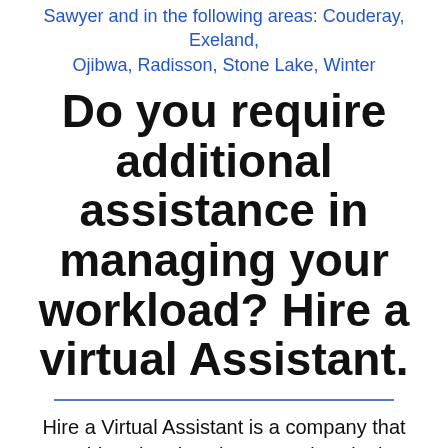Sawyer and in the following areas: Couderay, Exeland, Ojibwa, Radisson, Stone Lake, Winter
Do you require additional assistance in managing your workload? Hire a virtual Assistant.
Hire a Virtual Assistant is a company that provides virtual assistant services in the United States, Wisconsin, Sawyer, Couderay, Exeland,